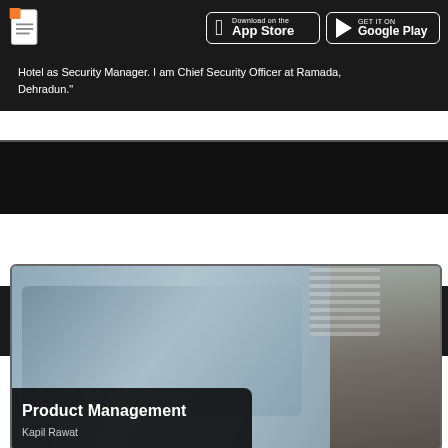[Figure (screenshot): App store download buttons bar with document icon, Apple App Store and Google Play buttons on dark background]
Hotel as Security Manager. I am Chief Security Officer at Ramada, Dehradun."
[Figure (screenshot): Dark navigation icon bar with phone/video icon, info icon, user icon, filter icon, and orange play button]
[Figure (photo): Course card for Product Management by Kapil Rawat, showing a group discussion photo with a person on the right side. Dark overlay at bottom with course title and author name.]
Product Management
Kapil Rawat